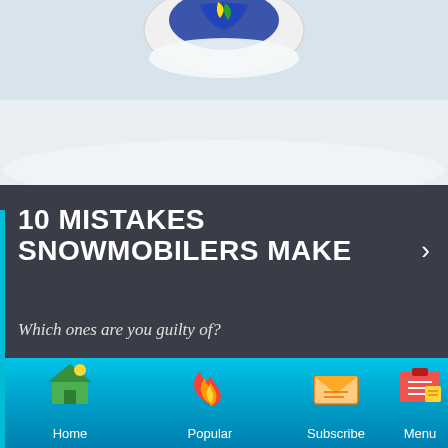[Figure (photo): Top portion of a snowmobile or helmet partially visible against a white/light background with snow]
10 MISTAKES SNOWMOBILERS MAKE
Which ones are you guilty of?
By Jeff McGirr
[Figure (photo): Close-up photo of hands with a pink/purple smoky or misty background]
Home | Popular | Subscribe | Menu